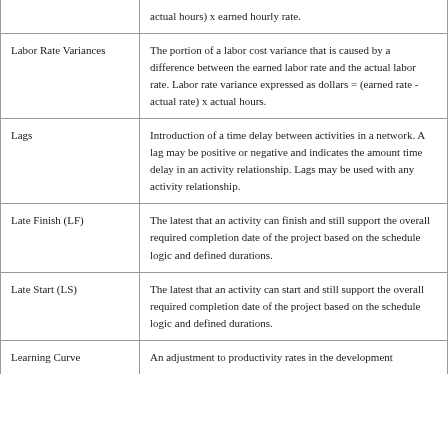| Term | Definition |
| --- | --- |
|  | actual hours) x earned hourly rate. |
| Labor Rate Variances | The portion of a labor cost variance that is caused by a difference between the earned labor rate and the actual labor rate. Labor rate variance expressed as dollars = (earned rate - actual rate) x actual hours. |
| Lags | Introduction of a time delay between activities in a network. A lag may be positive or negative and indicates the amount time delay in an activity relationship. Lags may be used with any activity relationship. |
| Late Finish (LF) | The latest that an activity can finish and still support the overall required completion date of the project based on the schedule logic and defined durations. |
| Late Start (LS) | The latest that an activity can start and still support the overall required completion date of the project based on the schedule logic and defined durations. |
| Learning Curve | An adjustment to productivity rates in the development |